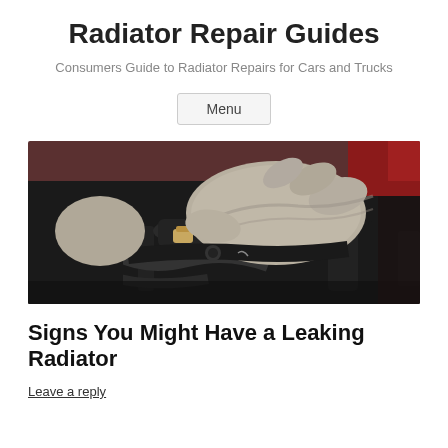Radiator Repair Guides
Consumers Guide to Radiator Repairs for Cars and Trucks
Menu
[Figure (photo): A mechanic's gloved hand working on a car engine, close-up view of engine components including hoses and fittings]
Signs You Might Have a Leaking Radiator
Leave a reply